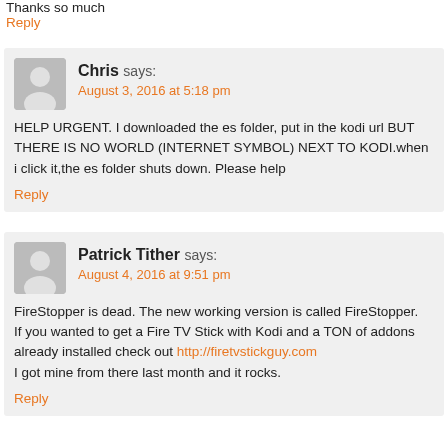Thanks so much
Reply
Chris says:
August 3, 2016 at 5:18 pm
HELP URGENT. I downloaded the es folder, put in the kodi url BUT THERE IS NO WORLD (INTERNET SYMBOL) NEXT TO KODI.when i click it,the es folder shuts down. Please help
Reply
Patrick Tither says:
August 4, 2016 at 9:51 pm
FireStopper is dead. The new working version is called FireStopper.
If you wanted to get a Fire TV Stick with Kodi and a TON of addons already installed check out http://firetvstickguy.com
I got mine from there last month and it rocks.
Reply